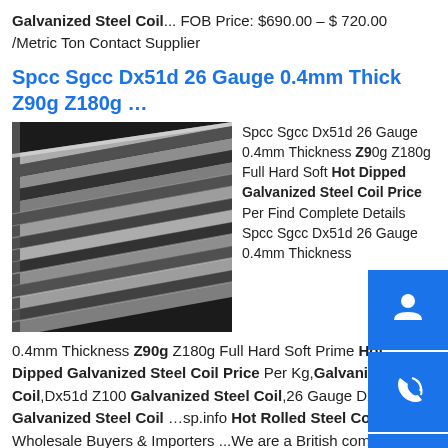Galvanized Steel Coil... FOB Price: $690.00 – $ 720.00 /Metric Ton Contact Supplier
Spcc Sgcc Dx51d 26 Gauge 0.4mm Thickness Z90g Z180g …
[Figure (photo): Stack of galvanized steel coil sheets photographed from the side, showing multiple layers of flat steel panels in dark gray tones]
Spcc Sgcc Dx51d 26 Gauge 0.4mm Thickness Z90g Z180g Full Hard Soft Hot Dipped Galvanized Steel Coil Price Per Find Complete Details Spcc Sgcc Dx51d 26 Gauge 0.4mm Thickness Z90g Z180g Full Hard Soft Prime Hot Dipped Galvanized Steel Coil Price Per Kg,Galvanized Steel Coil,Dx51d Z100 Galvanized Steel Coil,26 Gauge Dx51d Galvanized Steel Coil …sp.info Hot Rolled Steel Coil : Wholesale Buyers & Importers ...We are a British company based in London who is the purchase agent for the most important heavy engineering firms in developing